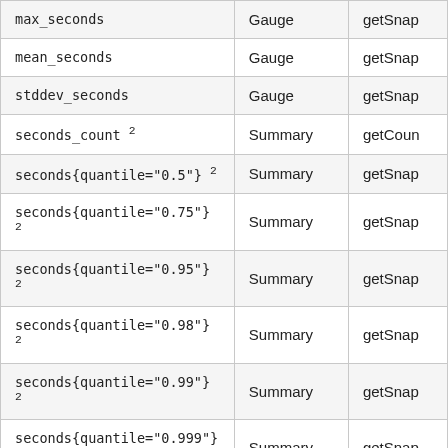| (metric name suffix) | Type | Method |
| --- | --- | --- |
| max_seconds | Gauge | getSnap… |
| mean_seconds | Gauge | getSnap… |
| stddev_seconds | Gauge | getSnap… |
| seconds_count 2 | Summary | getCoun… |
| seconds{quantile="0.5"} 2 | Summary | getSnap… |
| seconds{quantile="0.75"} 2 | Summary | getSnap… |
| seconds{quantile="0.95"} 2 | Summary | getSnap… |
| seconds{quantile="0.98"} 2 | Summary | getSnap… |
| seconds{quantile="0.99"} 2 | Summary | getSnap… |
| seconds{quantile="0.999"} 2 | Summary | getSnap… |